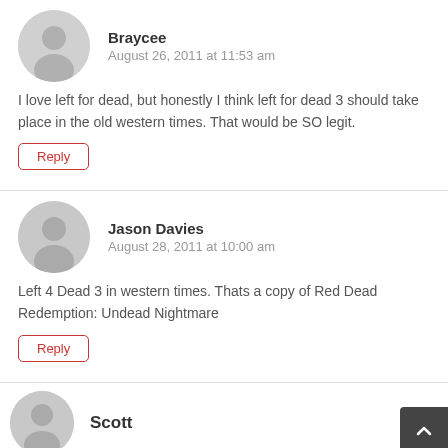[Figure (illustration): Avatar circle icon for user Braycee]
Braycee
August 26, 2011 at 11:53 am
I love left for dead, but honestly I think left for dead 3 should take place in the old western times. That would be SO legit.
Reply
[Figure (illustration): Avatar circle icon for user Jason Davies]
Jason Davies
August 28, 2011 at 10:00 am
Left 4 Dead 3 in western times. Thats a copy of Red Dead Redemption: Undead Nightmare
Reply
[Figure (illustration): Partial avatar circle icon for user Scott]
Scott